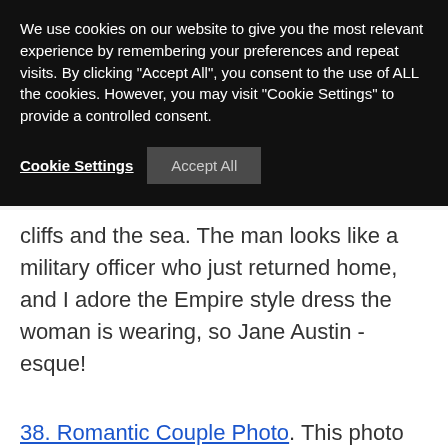We use cookies on our website to give you the most relevant experience by remembering your preferences and repeat visits. By clicking "Accept All", you consent to the use of ALL the cookies. However, you may visit "Cookie Settings" to provide a controlled consent.
Cookie Settings | Accept All
cliffs and the sea. The man looks like a military officer who just returned home, and I adore the Empire style dress the woman is wearing, so Jane Austin -esque!
38. Romantic Couple Photo. This photo features a romantic couple posed in a natural setting with rocks and foliage. There are two sweet doves in the upper corners. The picture...